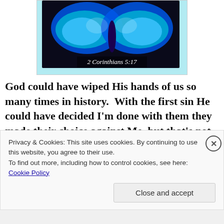[Figure (illustration): A blue butterfly on a dark background with text '2 Corinthians 5:17' overlaid at the bottom, set against a cyan/light blue background border.]
God could have wiped His hands of us so many times in history.  With the first sin He could have decided I'm done with them they made their choice against Me, but that's not who God is.  His love wouldn't allow Himself to turn
Privacy & Cookies: This site uses cookies. By continuing to use this website, you agree to their use.
To find out more, including how to control cookies, see here: Cookie Policy
Close and accept